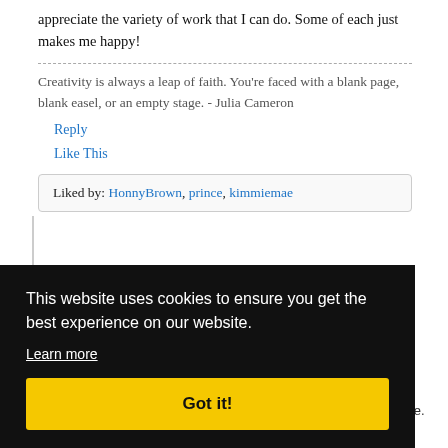appreciate the variety of work that I can do. Some of each just makes me happy!
Creativity is always a leap of faith. You're faced with a blank page, blank easel, or an empty stage. - Julia Cameron
Reply
Like This
Liked by: HonnyBrown, prince, kimmiemae
This website uses cookies to ensure you get the best experience on our website.
Learn more
Got it!
08PM
n the
me
munity
are
s is
still applicable.